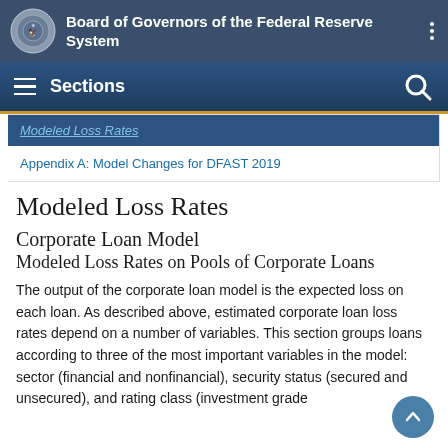Board of Governors of the Federal Reserve System
Sections
Modeled Loss Rates
Appendix A: Model Changes for DFAST 2019
Modeled Loss Rates
Corporate Loan Model
Modeled Loss Rates on Pools of Corporate Loans
The output of the corporate loan model is the expected loss on each loan. As described above, estimated corporate loan loss rates depend on a number of variables. This section groups loans according to three of the most important variables in the model: sector (financial and nonfinancial), security status (secured and unsecured), and rating class (investment grade